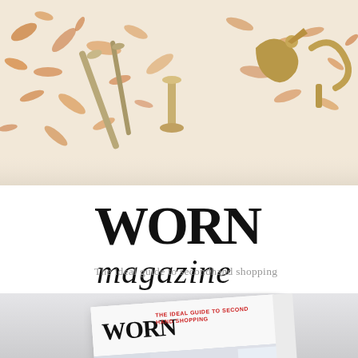[Figure (photo): Top banner photo showing brass/gold decorative objects (utensils, door handles, figurines) arranged on a white surface with an orange and white patterned background]
WORN magazine
The ideal guide to secondhand shopping
[Figure (photo): Mockup of WORN magazine cover showing a living room interior with bookshelves, sofa, and eclectic decor; magazine has spine visible on right side reading WORN]